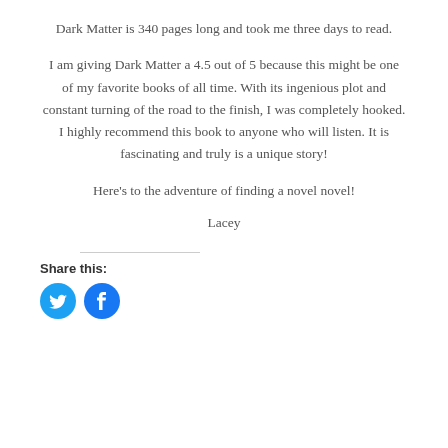Dark Matter is 340 pages long and took me three days to read.
I am giving Dark Matter a 4.5 out of 5 because this might be one of my favorite books of all time. With its ingenious plot and constant turning of the road to the finish, I was completely hooked. I highly recommend this book to anyone who will listen. It is fascinating and truly is a unique story!
Here's to the adventure of finding a novel novel!
Lacey
Share this: